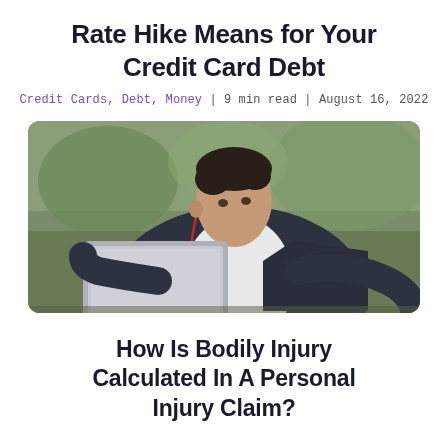Rate Hike Means for Your Credit Card Debt
Credit Cards, Debt, Money | 9 min read | August 16, 2022
[Figure (photo): Man in dark blazer and white shirt looking at a tablet device outdoors, with earphones, blurred green background]
How Is Bodily Injury Calculated In A Personal Injury Claim?